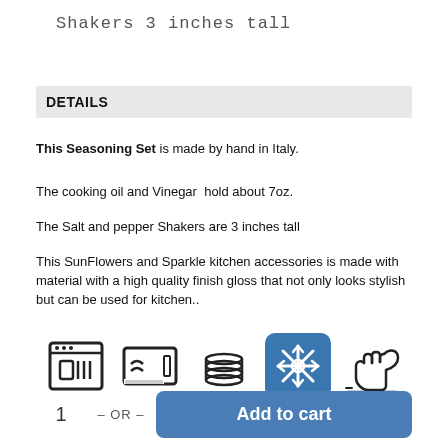Shakers  3 inches tall
DETAILS
This Seasoning Set is made by hand in Italy.
The cooking oil and Vinegar  hold about 7oz.
The Salt and pepper Shakers are 3 inches tall
This SunFlowers and Sparkle kitchen accessories is made with material with a high quality finish gloss that not only looks stylish but can be used for kitchen..
[Figure (infographic): Five kitchen care icons in a row: dishwasher safe, microwave safe, stackable dishes, freezer safe (highlighted in blue), and handwash only.]
1   – OR –   Add to cart